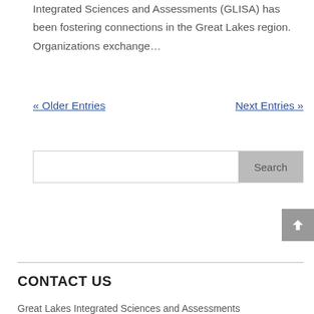Integrated Sciences and Assessments (GLISA) has been fostering connections in the Great Lakes region. Organizations exchange…
« Older Entries
Next Entries »
CONTACT US
Great Lakes Integrated Sciences and Assessments